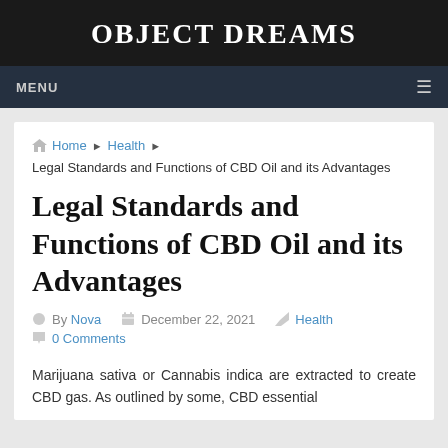OBJECT DREAMS
MENU
Home ▶ Health ▶ Legal Standards and Functions of CBD Oil and its Advantages
Legal Standards and Functions of CBD Oil and its Advantages
By Nova  December 22, 2021  Health  0 Comments
Marijuana sativa or Cannabis indica are extracted to create CBD gas. As outlined by some, CBD essential